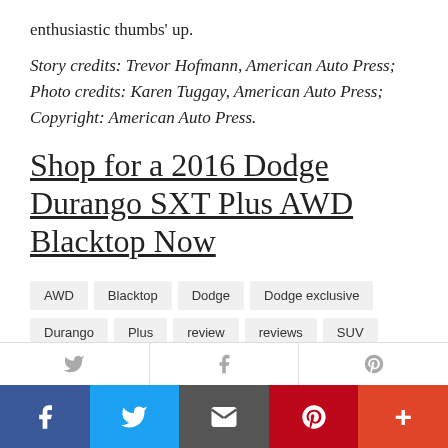enthusiastic thumbs' up.
Story credits: Trevor Hofmann, American Auto Press; Photo credits: Karen Tuggay, American Auto Press; Copyright: American Auto Press.
Shop for a 2016 Dodge Durango SXT Plus AWD Blacktop Now
AWD
Blacktop
Dodge
Dodge exclusive
Durango
Plus
review
reviews
SUV
SXT